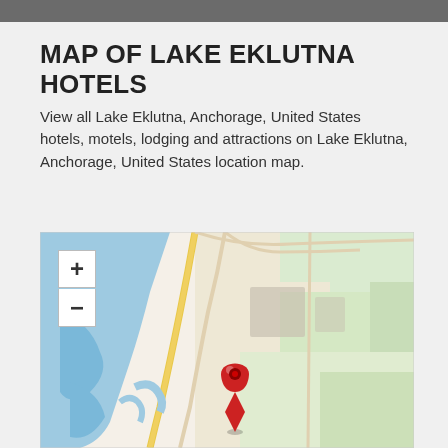MAP OF LAKE EKLUTNA HOTELS
View all Lake Eklutna, Anchorage, United States hotels, motels, lodging and attractions on Lake Eklutna, Anchorage, United States location map.
[Figure (map): Map showing Lake Eklutna area in Anchorage, United States with a red location pin marker, zoom controls (+/-), water body (blue) on the left, roads, and green vegetation areas.]